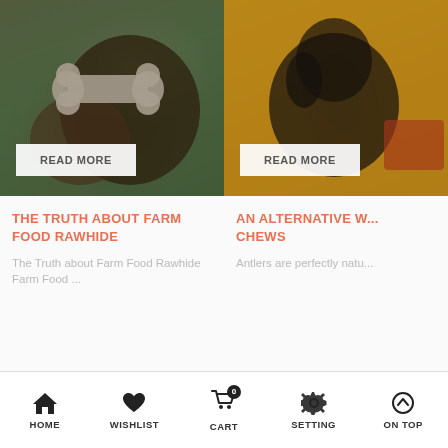[Figure (photo): Dog chewing on a white bone-shaped toy on green grass, with dark overlay]
[Figure (photo): Dachshund dog on yellow background, partially visible, with dark overlay]
THE TRUTH ABOUT FARM FOOD RAWHIDE
AN ALTERNATIVE W... CHEWS
The Truth about Farm Food Rawhide Farm Food ...
Antlers are perfectly natu...
HOME  WISHLIST  CART 0  SETTING  ON TOP